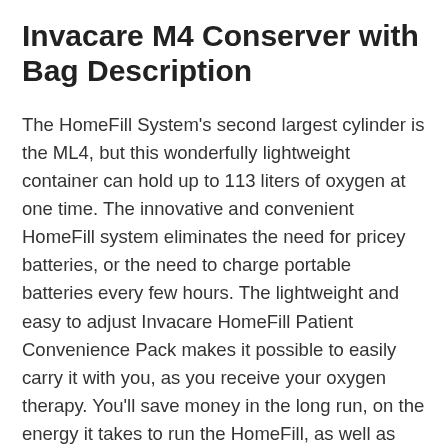Invacare M4 Conserver with Bag Description
The HomeFill System's second largest cylinder is the ML4, but this wonderfully lightweight container can hold up to 113 liters of oxygen at one time. The innovative and convenient HomeFill system eliminates the need for pricey batteries, or the need to charge portable batteries every few hours. The lightweight and easy to adjust Invacare HomeFill Patient Convenience Pack makes it possible to easily carry it with you, as you receive your oxygen therapy. You'll save money in the long run, on the energy it takes to run the HomeFill, as well as oxygen delivery costs. The HomeFill is efficient and creates its own purified oxygen quickly. The ML4 cylinder only takes about 75 minutes to fill, and all the oxygen that is produced